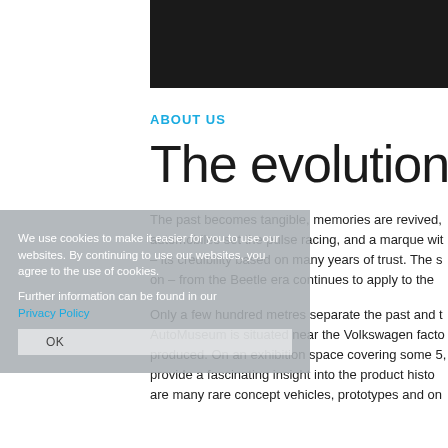[Figure (photo): Dark photograph strip at the top of the page, partially visible car detail on dark background]
ABOUT US
The evolution of
We use cookies to make it easier for you to use our websites. By continuing to use our websites, you agree to the use of cookies.

Further information can be found in our Privacy Policy
The past becomes tangible, memories are revived, automobiles set the pulse racing, and a marque with – its credibility based on many years of trust. The s on – from the Beetle era continues to apply to the
Only a few hundred metres separate the past and t AutoMuseum is situated near the Volkswagen facto produced. On an exhibition space covering some 5, provide a fascinating insight into the product histo are many rare concept vehicles, prototypes and on